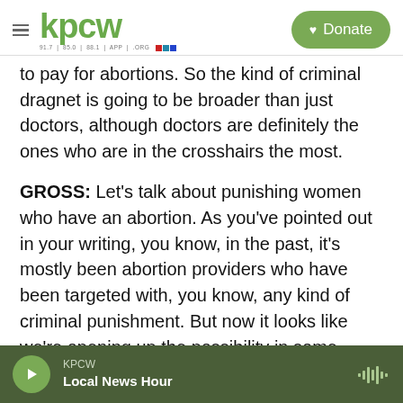[Figure (logo): KPCW radio logo with hamburger menu and Donate button]
to pay for abortions. So the kind of criminal dragnet is going to be broader than just doctors, although doctors are definitely the ones who are in the crosshairs the most.
GROSS: Let's talk about punishing women who have an abortion. As you've pointed out in your writing, you know, in the past, it's mostly been abortion providers who have been targeted with, you know, any kind of criminal punishment. But now it looks like we're opening up the possibility in some states of criminalizing women who have abortions. Where do we stand on that?
KPCW  Local News Hour